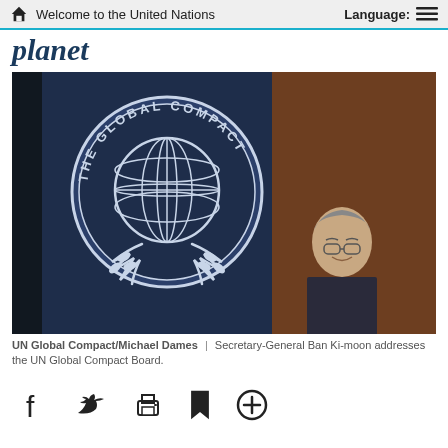Welcome to the United Nations | Language:
planet
[Figure (photo): Secretary-General Ban Ki-moon seated at a table, with a large UN Global Compact banner/flag visible in the background showing the globe and olive branches logo.]
UN Global Compact/Michael Dames | Secretary-General Ban Ki-moon addresses the UN Global Compact Board.
[Figure (infographic): Social media sharing icons: Facebook, Twitter, Print, Bookmark, Add/Plus]